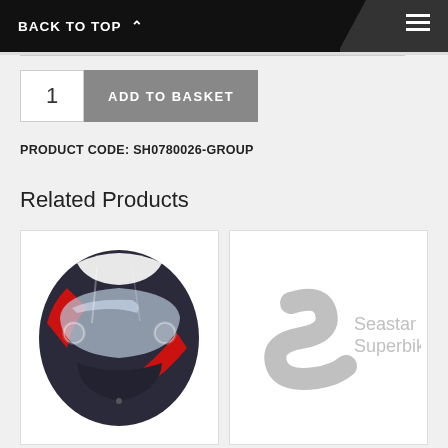BACK TO TOP
ADD TO BASKET
PRODUCT CODE: SH0780026-GROUP
Related Products
[Figure (photo): Arai motorcycle helmet, dark grey/black with red and white accents, full-face design, visor visible]
[Figure (logo): Seastar Superbikes logo - stylized S mark with text 'Seastar Superbikes']